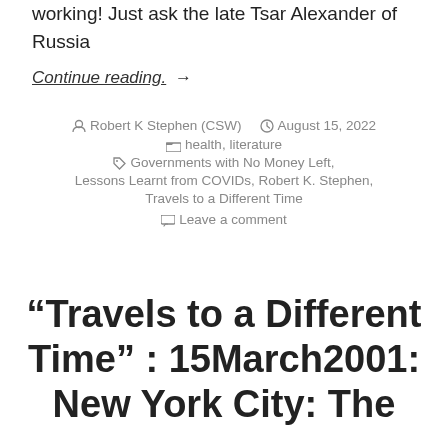working! Just ask the late Tsar Alexander of Russia
Continue reading. →
Robert K Stephen (CSW)  August 15, 2022  health, literature  Governments with No Money Left,  Lessons Learnt from COVIDs, Robert K. Stephen,  Travels to a Different Time  Leave a comment
“Travels to a Different Time” : 15March2001: New York City: The